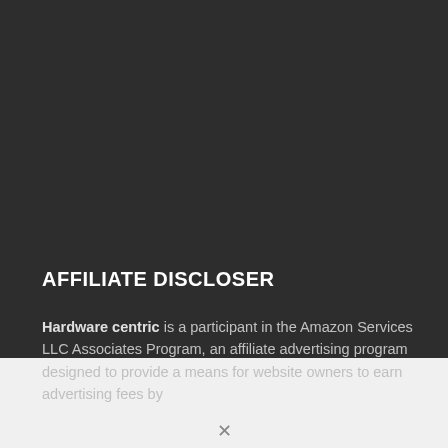AFFILIATE DISCLOSER
Hardware centric  is a participant in the Amazon Services LLC Associates Program, an affiliate advertising program designed to provide a means for website owners to earn advertising fees by